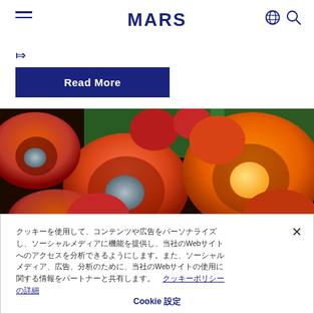MARS
Read More
[Figure (photo): Close-up photograph of red and orange palm oil fruits with green grass in the background]
クッキーを使用して、コンテンツや広告をパーソナライズし、ソーシャルメディアに機能を提供し、当社のWebサイトへのアクセスを分析できるようにします。また、ソーシャルメディア、広告、分析のために、当社のWebサイトの使用に関する情報をパートナーと共有します。　クッキーポリシーの詳細
Cookie 設定